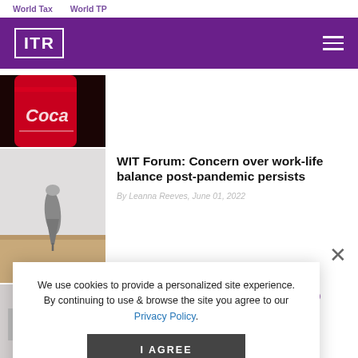World Tax   World TP
[Figure (logo): ITR logo — white text in a white border box on purple background navigation bar with hamburger menu icon]
[Figure (photo): Partial view of a Coca-Cola can on dark background]
[Figure (photo): A spinning top toy on a light wooden surface]
WIT Forum: Concern over work-life balance post-pandemic persists
By Leanna Reeves, June 01, 2022
We use cookies to provide a personalized site experience. By continuing to use & browse the site you agree to our Privacy Policy.
Opt-out: pillar reform may yet grab AWS
May 26, 2022